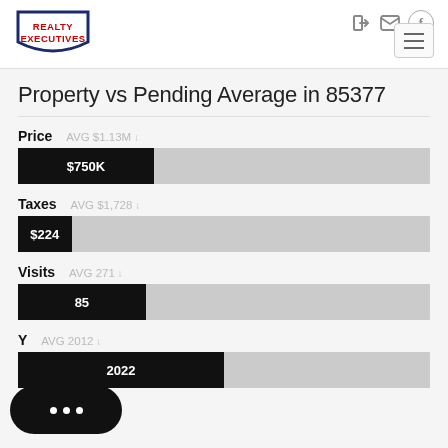[Figure (logo): Realty Executives logo — shield shape with red text REALTY EXECUTIVES on dark blue border]
Property vs Pending Average in 85377
[Figure (bar-chart): Price]